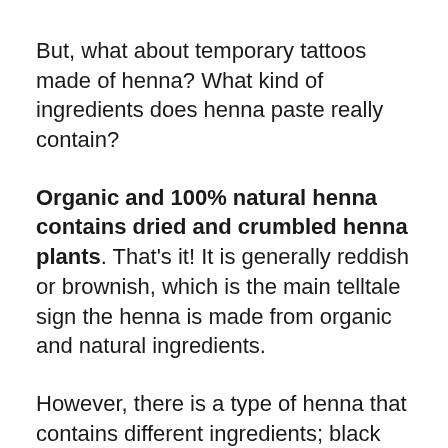But, what about temporary tattoos made of henna? What kind of ingredients does henna paste really contain?
Organic and 100% natural henna contains dried and crumbled henna plants. That's it! It is generally reddish or brownish, which is the main telltale sign the henna is made from organic and natural ingredients.
However, there is a type of henna that contains different ingredients; black henna. This type of henna is completely unnatural and made from artificial and chemical ingredients.